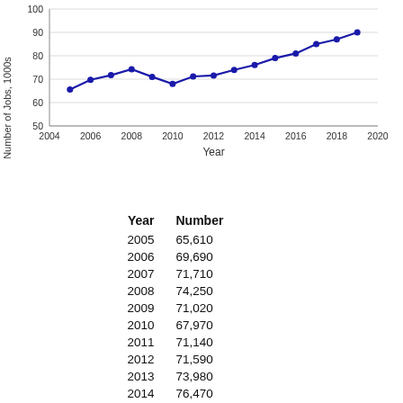[Figure (line-chart): ]
| Year | Number |
| --- | --- |
| 2005 | 65,610 |
| 2006 | 69,690 |
| 2007 | 71,710 |
| 2008 | 74,250 |
| 2009 | 71,020 |
| 2010 | 67,970 |
| 2011 | 71,140 |
| 2012 | 71,590 |
| 2013 | 73,980 |
| 2014 | 76,470 |